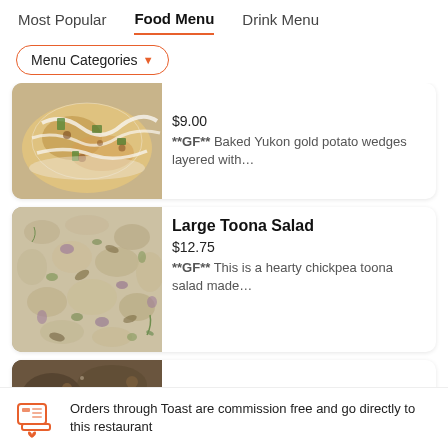Most Popular | Food Menu | Drink Menu
Menu Categories ▼
[Figure (photo): Photo of baked potato wedges dish with white sauce and toppings]
$9.00
**GF** Baked Yukon gold potato wedges layered with…
[Figure (photo): Photo of large toona salad with chickpeas and vegetables]
Large Toona Salad
$12.75
**GF** This is a hearty chickpea toona salad made…
[Figure (photo): Partial photo of another menu item]
Orders through Toast are commission free and go directly to this restaurant